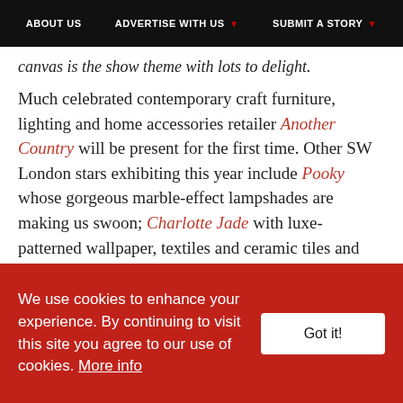ABOUT US | ADVERTISE WITH US | SUBMIT A STORY
canvas is the show theme with lots to delight.
Much celebrated contemporary craft furniture, lighting and home accessories retailer Another Country will be present for the first time. Other SW London stars exhibiting this year include Pooky whose gorgeous marble-effect lampshades are making us swoon; Charlotte Jade with luxe-patterned wallpaper, textiles and ceramic tiles and bespoke patterns and the superb Christopher Jenner who has a studio based in Chiswick Drummonds. Also look out for Blackbird London and Bert Frank. If the interiors inspo has you in
We use cookies to enhance your experience. By continuing to visit this site you agree to our use of cookies. More info